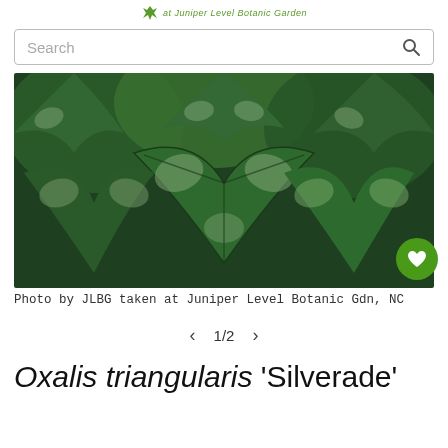at Juniper Level Botanic Garden
[Figure (screenshot): Search bar with placeholder text 'Search' and a magnifying glass icon on the right]
[Figure (photo): Close-up photo of Oxalis triangularis 'Silverade' leaves — large green clover-like leaves with silvery-white marbling patterns, taken at Juniper Level Botanic Garden, NC. A green circular heart/wishlist button is visible in the lower right corner.]
Photo by JLBG taken at Juniper Level Botanic Gdn, NC
1/2
Oxalis triangularis 'Silverade'